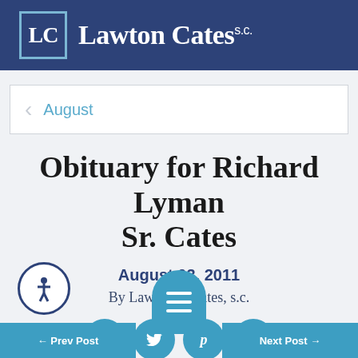LC LawtonCates s.c.
< August
Obituary for Richard Lyman Sr. Cates
August 03, 2011
By Lawton & Cates, s.c.
[Figure (infographic): Social sharing icons: Facebook, Twitter, Pinterest, LinkedIn as teal circular buttons]
[Figure (infographic): Accessibility icon (person in circle), hamburger menu button, and two navigation buttons at bottom: Prev Post and Next Post]